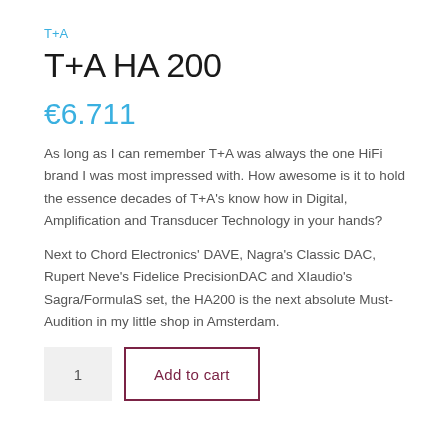T+A
T+A HA 200
€6.711
As long as I can remember T+A was always the one HiFi brand I was most impressed with. How awesome is it to hold the essence decades of T+A's know how in Digital, Amplification and Transducer Technology in your hands?
Next to Chord Electronics' DAVE, Nagra's Classic DAC, Rupert Neve's Fidelice PrecisionDAC and XIaudio's Sagra/FormulaS set, the HA200 is the next absolute Must-Audition in my little shop in Amsterdam.
Add to cart